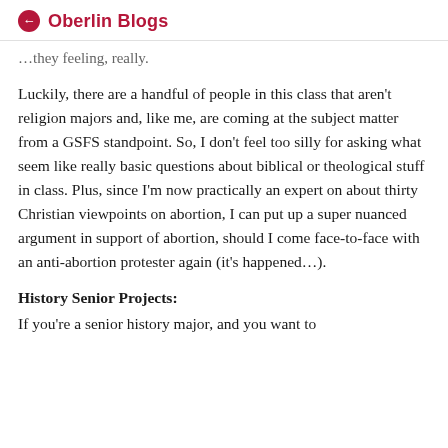Oberlin Blogs
…they feeling, really.
Luckily, there are a handful of people in this class that aren't religion majors and, like me, are coming at the subject matter from a GSFS standpoint. So, I don't feel too silly for asking what seem like really basic questions about biblical or theological stuff in class. Plus, since I'm now practically an expert on about thirty Christian viewpoints on abortion, I can put up a super nuanced argument in support of abortion, should I come face-to-face with an anti-abortion protester again (it's happened…).
History Senior Projects:
If you're a senior history major, and you want to